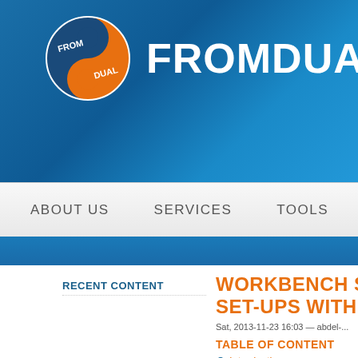[Figure (logo): FromDual logo: orange and blue yin-yang style circular icon with FROM DUAL text, next to FROMDUAL text in white on blue background]
ABOUT US   SERVICES   TOOLS   RESOUR...
RECENT CONTENT
WORKBENCH ST... SET-UPS WITH...
Sat, 2013-11-23 16:03 — abdel-...
TABLE OF CONTENT
Introduction
Prerequisites
What is MyEnv?
MySQL Workbench...
Add MySQL d...